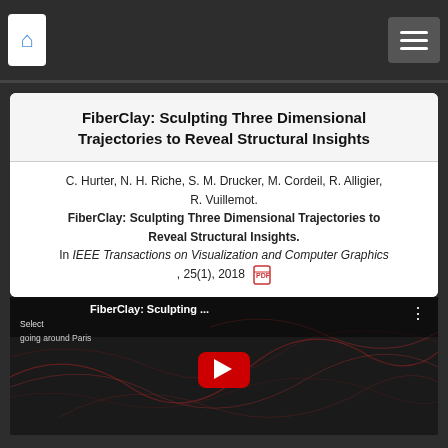Home | Menu navigation
FiberClay: Sculpting Three Dimensional Trajectories to Reveal Structural Insights
C. Hurter, N. H. Riche, S. M. Drucker, M. Cordeil, R. Alligier, R. Vuillemot. FiberClay: Sculpting Three Dimensional Trajectories to Reveal Structural Insights. In IEEE Transactions on Visualization and Computer Graphics, 25(1), 2018
[Figure (screenshot): Video thumbnail for FiberClay: Sculpting ... showing a dark background with fiber/trajectory visualization, a red YouTube play button, and the title text overlay at the top]